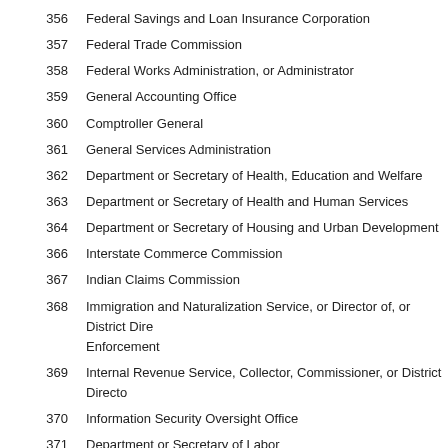356	Federal Savings and Loan Insurance Corporation
357	Federal Trade Commission
358	Federal Works Administration, or Administrator
359	General Accounting Office
360	Comptroller General
361	General Services Administration
362	Department or Secretary of Health, Education and Welfare
363	Department or Secretary of Health and Human Services
364	Department or Secretary of Housing and Urban Development
366	Interstate Commerce Commission
367	Indian Claims Commission
368	Immigration and Naturalization Service, or Director of, or District Director of, or Enforcement
369	Internal Revenue Service, Collector, Commissioner, or District Director
370	Information Security Oversight Office
371	Department or Secretary of Labor
372	Loyalty Review Board
373	Land Review Corporation (partial)